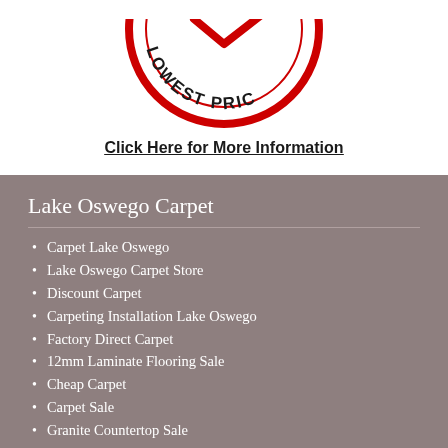[Figure (logo): Circular logo/badge with red border and text 'LOWEST PRICE' around the edge, partially cropped at top]
Click Here for More Information
Lake Oswego Carpet
Carpet Lake Oswego
Lake Oswego Carpet Store
Discount Carpet
Carpeting Installation Lake Oswego
Factory Direct Carpet
12mm Laminate Flooring Sale
Cheap Carpet
Carpet Sale
Granite Countertop Sale